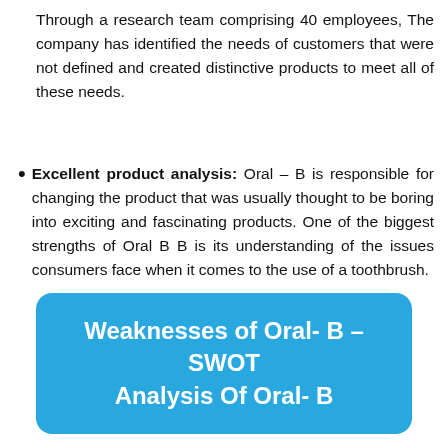Through a research team comprising 40 employees, The company has identified the needs of customers that were not defined and created distinctive products to meet all of these needs.
Excellent product analysis: Oral – B is responsible for changing the product that was usually thought to be boring into exciting and fascinating products. One of the biggest strengths of Oral B B is its understanding of the issues consumers face when it comes to the use of a toothbrush.
Weaknesses of Oral- B – SWOT Analysis Of Oral- B